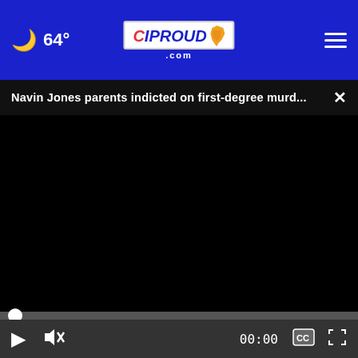🌙 64° — CIProud.com — [menu]
Navin Jones parents indicted on first-degree murd... ×
[Figure (screenshot): Black video player area with playback controls: play button, mute button, time display showing 00:00, closed captions button, fullscreen button, and a progress scrubber bar.]
continue with this survey, please read and agree to the CivicScience Privacy Policy and Terms of Service ×
[Figure (screenshot): Advertisement banner: image of green plants/flowers on left, text reading 'Purchasers of certain Roundup®, HDX®, or Ace® brand weed killer may be eligible for a cash payment from a class action settlement. Visit www.WeedKillerAdSettlement.com to learn more.' with ad control icons on right.]